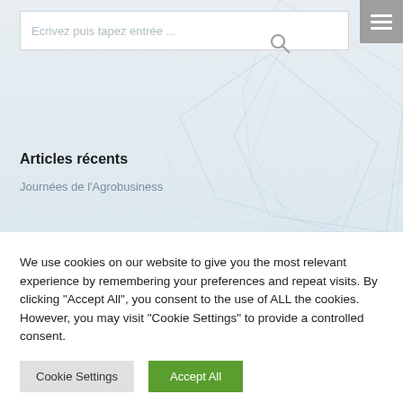[Figure (screenshot): Search input box with placeholder text 'Ecrivez puis tapez entrée ...' and a grey menu icon with hamburger lines in the top-right corner, on a light blue-grey background with decorative diamond/polygon outlines.]
Articles récents
Journées de l'Agrobusiness
We use cookies on our website to give you the most relevant experience by remembering your preferences and repeat visits. By clicking "Accept All", you consent to the use of ALL the cookies. However, you may visit "Cookie Settings" to provide a controlled consent.